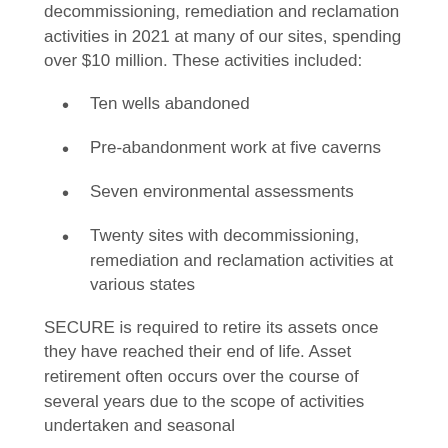decommissioning, remediation and reclamation activities in 2021 at many of our sites, spending over $10 million. These activities included:
Ten wells abandoned
Pre-abandonment work at five caverns
Seven environmental assessments
Twenty sites with decommissioning, remediation and reclamation activities at various states
SECURE is required to retire its assets once they have reached their end of life. Asset retirement often occurs over the course of several years due to the scope of activities undertaken and seasonal